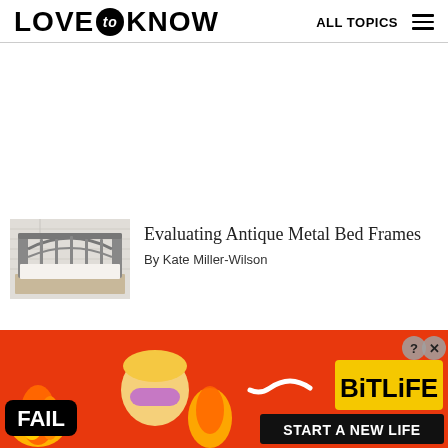LOVE to KNOW   ALL TOPICS
[Figure (photo): Antique metal bed frame with white bedding in a bright room with blinds]
Evaluating Antique Metal Bed Frames
By Kate Miller-Wilson
[Figure (photo): BitLife advertisement banner — colorful ad with 'FAIL', animated character, flame, sperm icon, 'BitLife' logo and 'START A NEW LIFE' text on red/orange background]